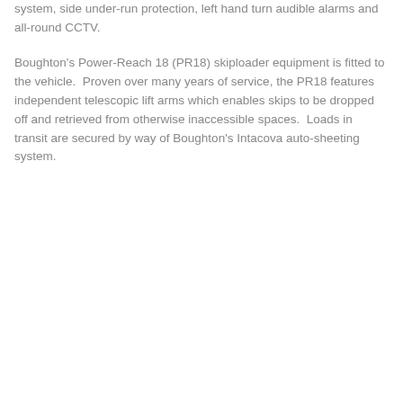system, side under-run protection, left hand turn audible alarms and all-round CCTV.
Boughton's Power-Reach 18 (PR18) skiploader equipment is fitted to the vehicle.  Proven over many years of service, the PR18 features independent telescopic lift arms which enables skips to be dropped off and retrieved from otherwise inaccessible spaces.  Loads in transit are secured by way of Boughton's Intacova auto-sheeting system.